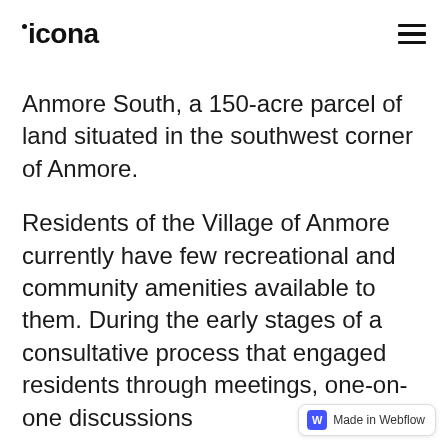icona
Anmore South, a 150-acre parcel of land situated in the southwest corner of Anmore.
Residents of the Village of Anmore currently have few recreational and community amenities available to them. During the early stages of a consultative process that engaged residents through meetings, one-on-one discussions